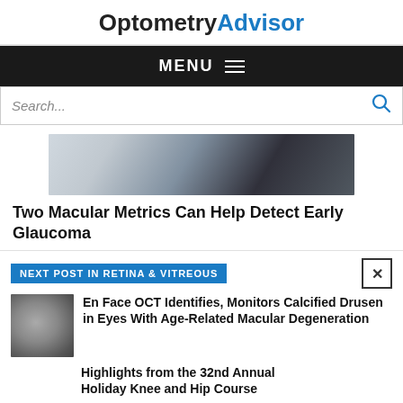OptometryAdvisor
[Figure (screenshot): Dark navigation menu bar with MENU text and hamburger icon]
[Figure (screenshot): Search bar with Search... placeholder and search icon]
[Figure (photo): Medical/clinical photo showing a patient or equipment in blue-grey tones]
Two Macular Metrics Can Help Detect Early Glaucoma
NEXT POST IN RETINA & VITREOUS
[Figure (photo): Thumbnail: En Face OCT image showing calcified drusen]
En Face OCT Identifies, Monitors Calcified Drusen in Eyes With Age-Related Macular Degeneration
Highlights from the 32nd Annual Holiday Knee and Hip Course